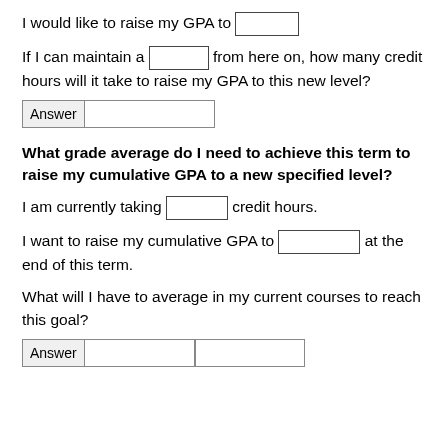I would like to raise my GPA to [input]
If I can maintain a [input] from here on, how many credit hours will it take to raise my GPA to this new level?
Answer [input]
What grade average do I need to achieve this term to raise my cumulative GPA to a new specified level?
I am currently taking [input] credit hours.
I want to raise my cumulative GPA to [input] at the end of this term.
What will I have to average in my current courses to reach this goal?
Answer [input] [input]